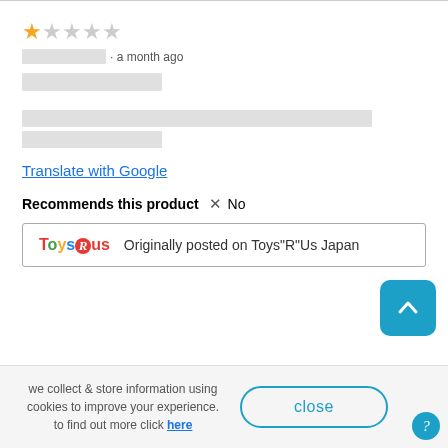★☆☆☆☆ · a month ago
[reviewer name placeholder]
[review title link placeholder]
[review body placeholder text]
Translate with Google
Recommends this product  ✗  No
Originally posted on Toys"R"Us Japan
we collect & store information using cookies to improve your experience. to find out more click here
close